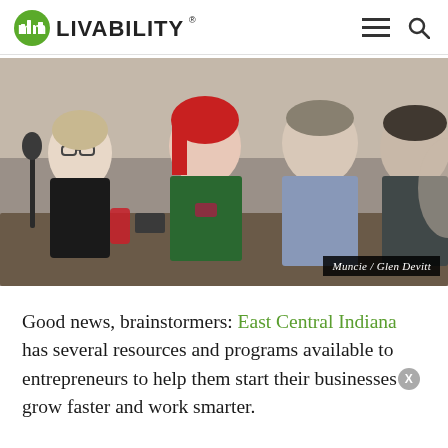LIVABILITY
[Figure (photo): Four people seated at a table during a panel or meeting event. From left: a woman with blonde hair wearing glasses and a black top, a woman with red hair in a green patterned top holding a phone, a man in a grey checked shirt, and a man in a dark grey jacket. Water bottles and items on the table in front of them. Photo credit: Muncie / Glen Devitt]
Muncie / Glen Devitt
Good news, brainstormers: East Central Indiana has several resources and programs available to entrepreneurs to help them start their businesses, grow faster and work smarter.